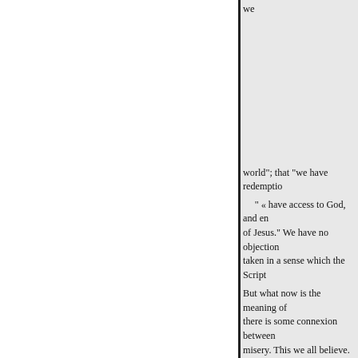we
world"; that "we have redemptio
" « have access to God, and en of Jesus." We have no objection taken in a sense which the Script
But what now is the meaning of there is some connexion between misery. This we all believe. But of opinion. We all believe, all Ch
But how is it a means ? will sa sacrifice, a propitiation ? We ans question is, what is an atonemen to the proper solution of whichor knowledge, and especially of the atonement," without this knowle mass of mankind, of the body of some particular explanation, son